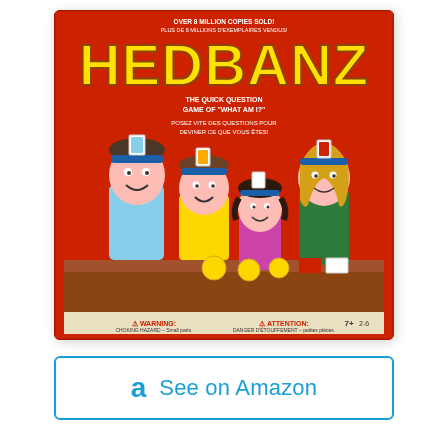[Figure (photo): Product box of HedBanz board game on a red box showing cartoon family (dad, son, daughter, mom) wearing headbands with cards on their foreheads. Text on box: OVER 8 MILLION COPIES SOLD! PLUS DE 8 MILLIONS D'EXEMPLAIRES VENDUS! HEDBANZ THE QUICK QUESTION GAME OF 'WHAT AM I?' POSEZ VITE DES QUESTIONS POUR DEVINER CE QUE VOUS ÊTES! WARNING / ATTENTION at bottom.]
a  See on Amazon